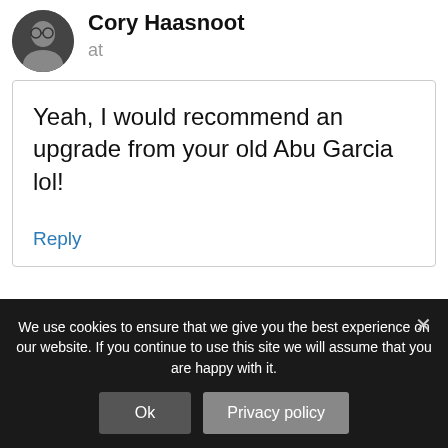Cory Haasnoot
at
Yeah, I would recommend an upgrade from your old Abu Garcia lol!
Reply
We use cookies to ensure that we give you the best experience on our website. If you continue to use this site we will assume that you are happy with it.